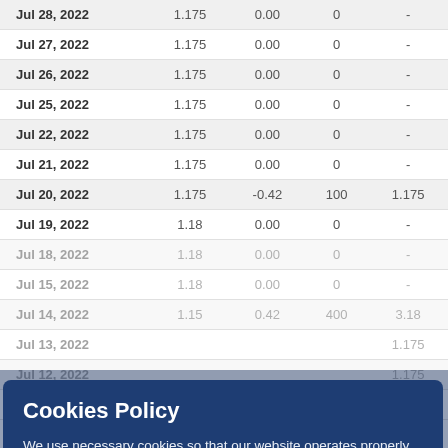| Date | Price | Change | Volume | Value |
| --- | --- | --- | --- | --- |
| Jul 28, 2022 | 1.175 | 0.00 | 0 | - |
| Jul 27, 2022 | 1.175 | 0.00 | 0 | - |
| Jul 26, 2022 | 1.175 | 0.00 | 0 | - |
| Jul 25, 2022 | 1.175 | 0.00 | 0 | - |
| Jul 22, 2022 | 1.175 | 0.00 | 0 | - |
| Jul 21, 2022 | 1.175 | 0.00 | 0 | - |
| Jul 20, 2022 | 1.175 | -0.42 | 100 | 1.175 |
| Jul 19, 2022 | 1.18 | 0.00 | 0 | - |
| Jul 18, 2022 | 1.18 | 0.00 | 0 | - |
| Jul 15, 2022 | 1.18 | 0.00 | 0 | - |
| Jul 14, 2022 | 1.15 | 0.42 | 400 | 3.18 |
| Jul 13, 2022 | ... | ... | ... | 1.175 |
| Jul 12, 2022 | ... | ... | ... | 1.175 |
| Jul 11, 2022 | ... | ... | ... | 3.19 |
Cookies Policy

We use necessary cookies so that our website operates properly (allowing key features such as security, network management and accessibility) and optional statistics cookies (Google Analytics to help us improve our website by collecting and reporting information about how you use it). For more information about the cookies we use, you can refer to our cookies policy. If you want to continue only with the necessary cookies, select "Reject", otherwise if you want to accept the statistics cookies select "Accept".